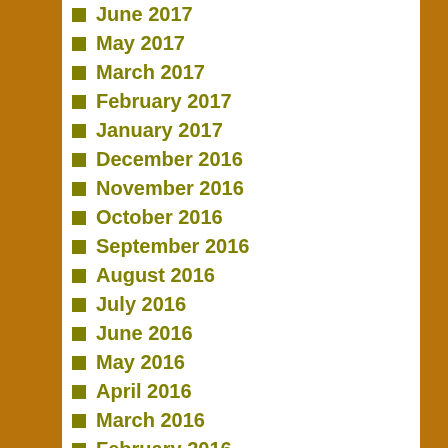June 2017
May 2017
March 2017
February 2017
January 2017
December 2016
November 2016
October 2016
September 2016
August 2016
July 2016
June 2016
May 2016
April 2016
March 2016
February 2016
January 2016
December 2015
August 2015
June 2015
April 2015
March 2015